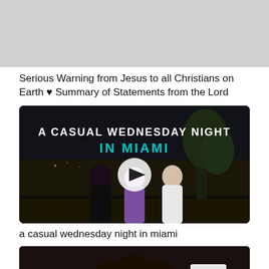[Figure (photo): Gray placeholder thumbnail image at top of feed]
Serious Warning from Jesus to all Christians on Earth ♥ Summary of Statements from the Lord
[Figure (screenshot): Video thumbnail: nighttime photo of three people outdoors with text overlay 'A CASUAL WEDNESDAY NIGHT IN MIAMI' with play button circle in center]
a casual wednesday night in miami
[Figure (photo): Bottom partial thumbnail showing top of a person's head with dark curly hair on dark background, partially cut off]